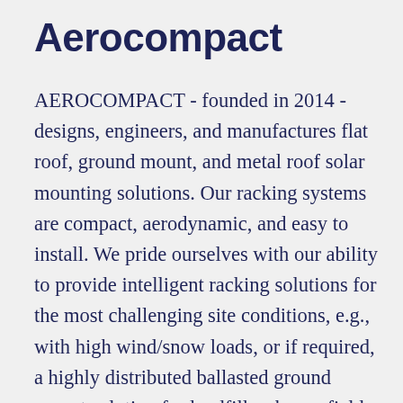Aerocompact
AEROCOMPACT - founded in 2014 - designs, engineers, and manufactures flat roof, ground mount, and metal roof solar mounting solutions. Our racking systems are compact, aerodynamic, and easy to install. We pride ourselves with our ability to provide intelligent racking solutions for the most challenging site conditions, e.g., with high wind/snow loads, or if required, a highly distributed ballasted ground mount solution for landfill or brownfield projects. AEROCOMPACT has locations in the USA, Austria, and India and an additional 14 sales offices worldwide. Close to 2 GW of power